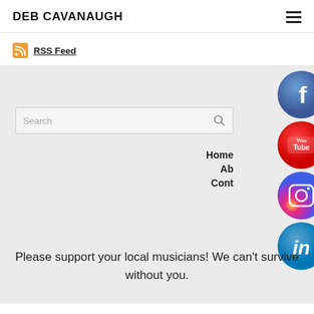DEB CAVANAUGH
RSS Feed
[Figure (screenshot): Search input box with placeholder text 'Search' and a magnifying glass icon on the right]
[Figure (infographic): Social media icons column: Facebook (blue circle with f), YouTube (red circle with YouTube logo), Instagram (pink/purple circle with camera icon), LinkedIn (blue circle with in)]
Home
About
Contact
Please support your local musicians!  We can't survive without you.